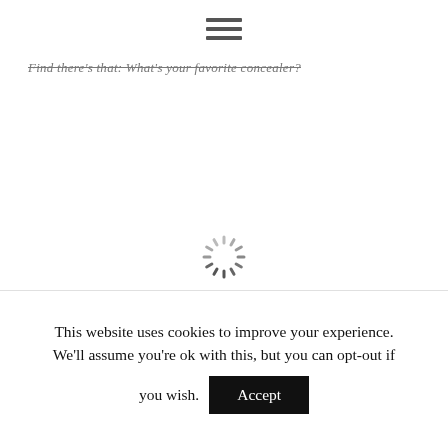[Figure (other): Hamburger menu icon — three horizontal lines stacked vertically, centered near top of page]
Find there's that: What's your favorite concealer?
[Figure (other): Loading spinner — circular dashed/radial loading indicator]
This website uses cookies to improve your experience. We'll assume you're ok with this, but you can opt-out if you wish. Accept